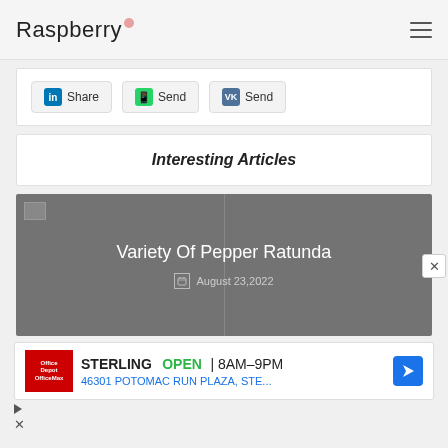Raspberry
Share  Send  Send
Interesting Articles
Variety Of Pepper Ratunda
August 23,2022
STERLING  OPEN  8AM–9PM  46301 POTOMAC RUN PLAZA, STE...